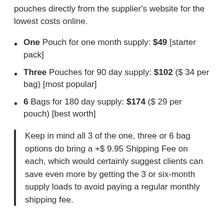pouches directly from the supplier's website for the lowest costs online.
One Pouch for one month supply: $49 [starter pack]
Three Pouches for 90 day supply: $102 ($ 34 per bag) [most popular]
6 Bags for 180 day supply: $174 ($ 29 per pouch) [best worth]
Keep in mind all 3 of the one, three or 6 bag options do bring a +$ 9.95 Shipping Fee on each, which would certainly suggest clients can save even more by getting the 3 or six-month supply loads to avoid paying a regular monthly shipping fee.